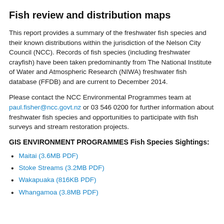Fish review and distribution maps
This report provides a summary of the freshwater fish species and their known distributions within the jurisdiction of the Nelson City Council (NCC). Records of fish species (including freshwater crayfish) have been taken predominantly from The National Institute of Water and Atmospheric Research (NIWA) freshwater fish database (FFDB) and are current to December 2014.
Please contact the NCC Environmental Programmes team at paul.fisher@ncc.govt.nz or 03 546 0200 for further information about freshwater fish species and opportunities to participate with fish surveys and stream restoration projects.
GIS ENVIRONMENT PROGRAMMES Fish Species Sightings:
Maitai (3.6MB PDF)
Stoke Streams (3.2MB PDF)
Wakapuaka (816KB PDF)
Whangamoa (3.8MB PDF)